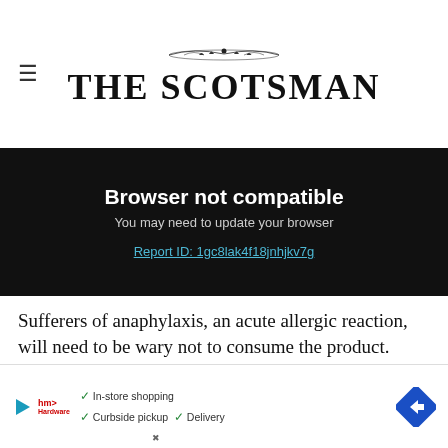THE SCOTSMAN
Browser not compatible
You may need to update your browser
Report ID: 1gc8lak4f18jnhjkv7g
Sufferers of anaphylaxis, an acute allergic reaction, will need to be wary not to consume the product.
According to the NHS, symptoms of anaphylaxis are:
feeling lightheaded or faint
[Figure (infographic): Advertisement banner showing In-store shopping, Curbside pickup, Delivery with a blue directional arrow icon]